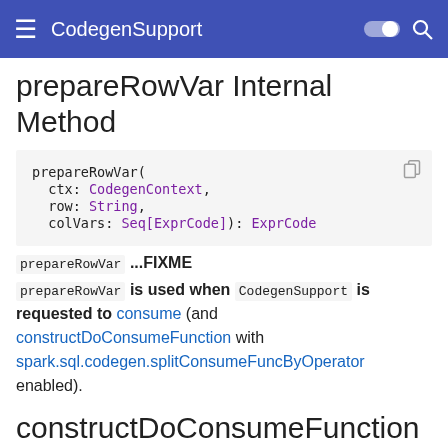CodegenSupport
prepareRowVar Internal Method
prepareRowVar(
  ctx: CodegenContext,
  row: String,
  colVars: Seq[ExprCode]): ExprCode
prepareRowVar ...FIXME
prepareRowVar is used when CodegenSupport is requested to consume (and constructDoConsumeFunction with spark.sql.codegen.splitConsumeFuncByOperator enabled).
constructDoConsumeFunction Internal Method